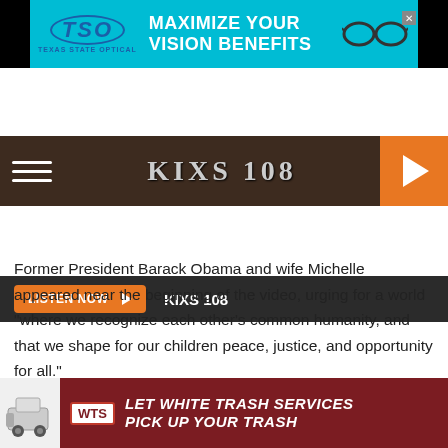[Figure (screenshot): TSO Texas State Optical advertisement banner with cyan background: TSO logo on left, 'MAXIMIZE YOUR VISION BENEFITS' headline, glasses image on right]
[Figure (screenshot): KIXS 108 radio station navigation bar with brown leather background, hamburger menu, KIXS logo, and orange play button]
[Figure (screenshot): Dark bar with orange LISTEN NOW button with play arrow and KIXS 108 text]
[Figure (screenshot): Social share buttons: blue Facebook Share button and cyan Twitter Tweet button]
Former President Barack Obama and wife Michelle appeared near the beginning of the video, urging for a world "where we recognize each other's common humanity, and that we shape for our children peace, justice, and opportunity for all."
Brooks gave an emotional performance of a previously
[Figure (screenshot): White Trash Services advertisement on dark red background with truck icon, WTS badge, and text 'LET WHITE TRASH SERVICES PICK UP YOUR TRASH']